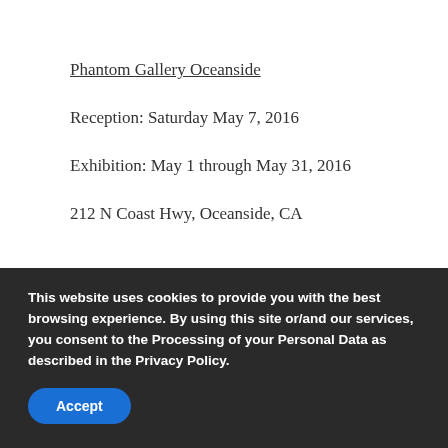Phantom Gallery Oceanside
Reception: Saturday May 7, 2016
Exhibition: May 1 through May 31, 2016
212 N Coast Hwy, Oceanside, CA
[Figure (other): Row of social media sharing icons: Facebook, Twitter, Google+, Pinterest, LinkedIn, Email]
This website uses cookies to provide you with the best browsing experience. By using this site or/and our services, you consent to the Processing of your Personal Data as described in the Privacy Policy.
Accept